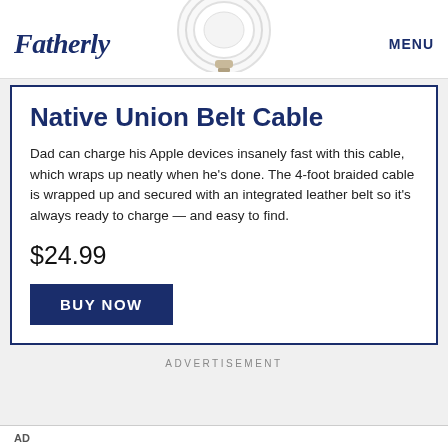Fatherly  MENU
[Figure (photo): White coiled cable / Native Union Belt Cable product photo, partially cropped at top]
Native Union Belt Cable
Dad can charge his Apple devices insanely fast with this cable, which wraps up neatly when he's done. The 4-foot braided cable is wrapped up and secured with an integrated leather belt so it's always ready to charge — and easy to find.
$24.99
BUY NOW
ADVERTISEMENT
AD